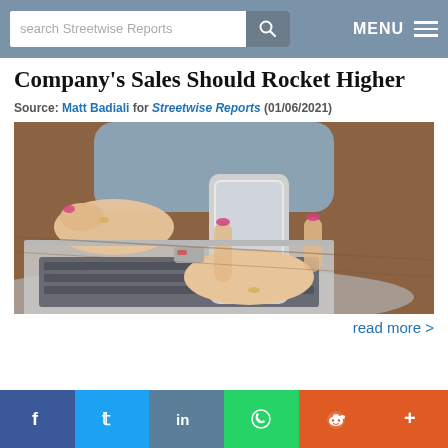search Streetwise Reports | MENU
Company's Sales Should Rocket Higher
Source: Matt Badiali for Streetwise Reports (01/06/2021)
[Figure (photo): Person holding a smartphone while sitting at a laptop computer on a wooden desk]
read more >
Facebook | Twitter | LinkedIn | WhatsApp | Reddit | Plus